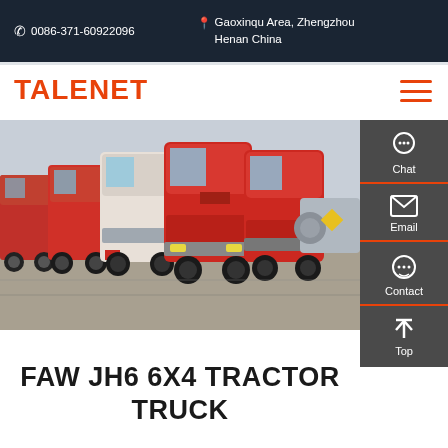0086-371-60922096  |  Gaoxinqu Area, Zhengzhou Henan China
TALENET
[Figure (photo): A fleet of red and white heavy-duty tractor trucks (SINOTRUK/FAW type) parked in a row in a yard, front-facing view showing cabs. Scene is outdoors with a grey sky.]
FAW JH6 6X4 TRACTOR TRUCK